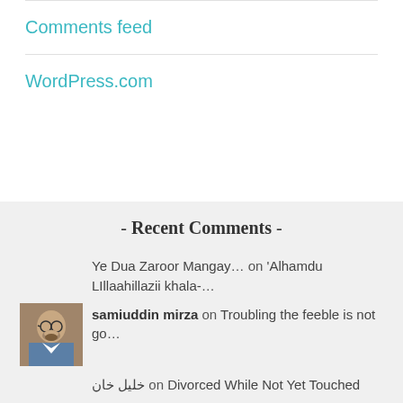Comments feed
WordPress.com
- Recent Comments -
Ye Dua Zaroor Mangay… on 'Alhamdu LIllaahillazii khala-…
samiuddin mirza on Troubling the feeble is not go…
خلیل خان on Divorced While Not Yet Touched